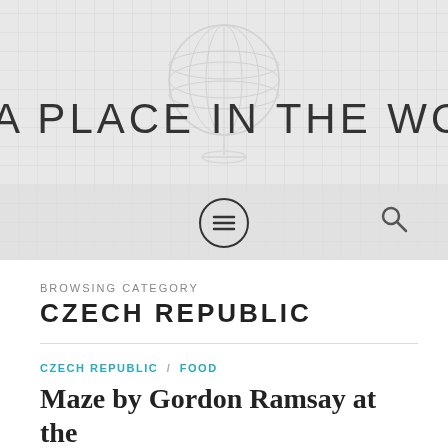[Figure (illustration): Website header banner with a faint globe illustration in the center on a light gray brick-textured background, showing the site title 'A PLACE IN THE WORLD' in large thin letters, with a navigation bar below containing a hamburger menu icon in a circle and a search icon]
BROWSING CATEGORY
CZECH REPUBLIC
CZECH REPUBLIC / FOOD
Maze by Gordon Ramsay at the